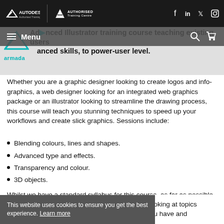AUTODESK Authorised Training Centre | Adobe AUTHORISED Training Centre | Facebook | LinkedIn | Twitter | Instagram
Advanced Illustrator training course teaching existing users enhanced skills, to power-user level.
[Figure (logo): Armada logo - teal triangle/arrow shape with 'armada' text below]
Whether you are a graphic designer looking to create logos and info-graphics, a web designer looking for an integrated web graphics package or an illustrator looking to streamline the drawing process, this course will teach you stunning techniques to speed up your workflows and create slick graphics. Sessions include:
Blending colours, lines and shapes.
Advanced type and effects.
Transparency and colour.
3D objects.
Whilst we have a standard syllabus for this course, as far as possible we tailor the training to focus on the techniques of interest to the delegates in attendance. Our trainer discusses this with the group at the start of the course.
looking at topics you have and
This website uses cookies to ensure you get the best experience. Learn more